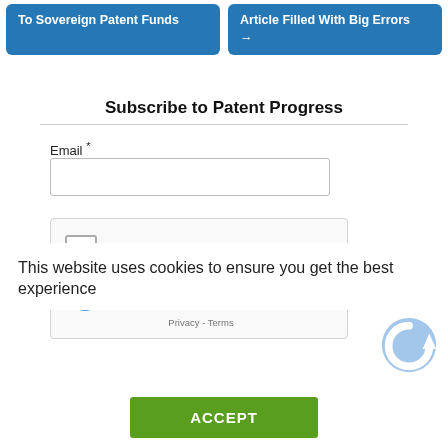[Figure (screenshot): Two blue navigation buttons: 'To Sovereign Patent Funds' on the left and 'Article Filled With Big Errors →' on the right]
Subscribe to Patent Progress
Email *
[Figure (screenshot): reCAPTCHA widget with checkbox labeled 'I'm not a robot', reCAPTCHA logo, Privacy and Terms links]
This website uses cookies to ensure you get the best experience
ACCEPT